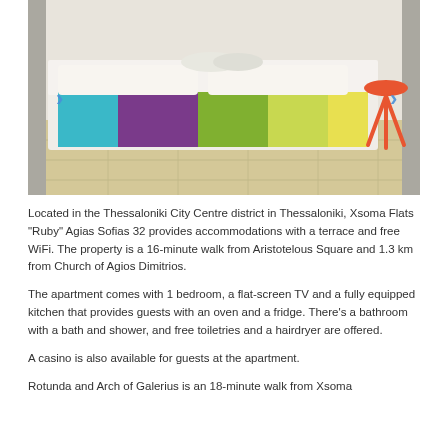[Figure (photo): Interior photo of an apartment bedroom showing a large bed with colorful striped bedding (teal, purple, green, yellow), white pillows with rolled towels on top, a red tripod side table, and beige tile flooring. Navigation arrows visible on left and right sides of the image.]
Located in the Thessaloniki City Centre district in Thessaloniki, Xsoma Flats “Ruby” Agias Sofias 32 provides accommodations with a terrace and free WiFi. The property is a 16-minute walk from Aristotelous Square and 1.3 km from Church of Agios Dimitrios.
The apartment comes with 1 bedroom, a flat-screen TV and a fully equipped kitchen that provides guests with an oven and a fridge. There’s a bathroom with a bath and shower, and free toiletries and a hairdryer are offered.
A casino is also available for guests at the apartment.
Rotunda and Arch of Galerius is an 18-minute walk from Xsoma